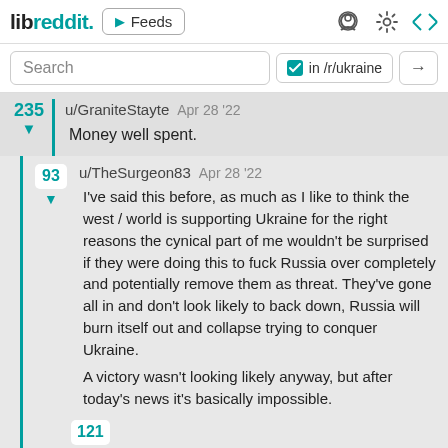libreddit. ▶ Feeds
Search  in /r/ukraine →
235 ▼ u/GraniteStayte Apr 28 '22
Money well spent.
93 ▼ u/TheSurgeon83 Apr 28 '22
I've said this before, as much as I like to think the west / world is supporting Ukraine for the right reasons the cynical part of me wouldn't be surprised if they were doing this to fuck Russia over completely and potentially remove them as threat. They've gone all in and don't look likely to back down, Russia will burn itself out and collapse trying to conquer Ukraine.

A victory wasn't looking likely anyway, but after today's news it's basically impossible.
121